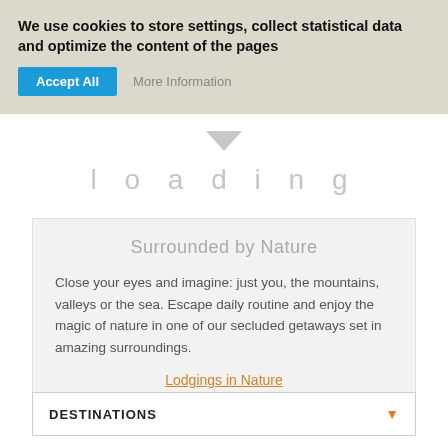We use cookies to store settings, collect statistical data and optimize the content of the pages
Accept All   More Information
loading
Surrounded by Nature
Close your eyes and imagine: just you, the mountains, valleys or the sea. Escape daily routine and enjoy the magic of nature in one of our secluded getaways set in amazing surroundings.
Lodgings in Nature
DESTINATIONS